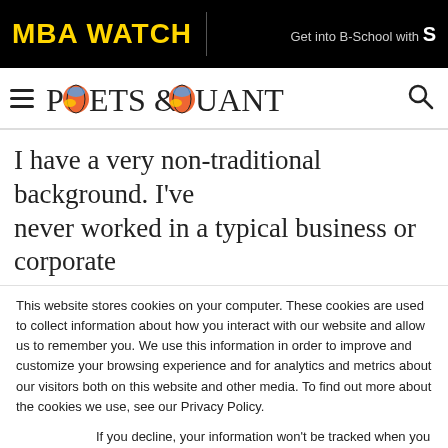MBA WATCH | Get into B-School with S
[Figure (logo): Poets & Quants logo with globe graphic replacing the O characters]
I have a very non-traditional background. I've never worked in a typical business or corporate
This website stores cookies on your computer. These cookies are used to collect information about how you interact with our website and allow us to remember you. We use this information in order to improve and customize your browsing experience and for analytics and metrics about our visitors both on this website and other media. To find out more about the cookies we use, see our Privacy Policy.
If you decline, your information won't be tracked when you visit this website. A single cookie will be used in your browser to remember your preference not to be tracked.